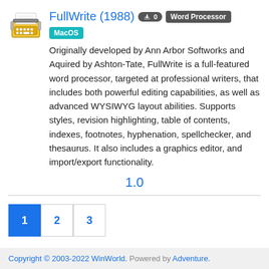FullWrite (1988) ⊙ 0 Word Processor MacOS
Originally developed by Ann Arbor Softworks and Aquired by Ashton-Tate, FullWrite is a full-featured word processor, targeted at professional writers, that includes both powerful editing capabilities, as well as advanced WYSIWYG layout abilities. Supports styles, revision highlighting, table of contents, indexes, footnotes, hyphenation, spellchecker, and thesaurus. It also includes a graphics editor, and import/export functionality.
1.0
1
2
3
Copyright © 2003-2022 WinWorld. Powered by Adventure.